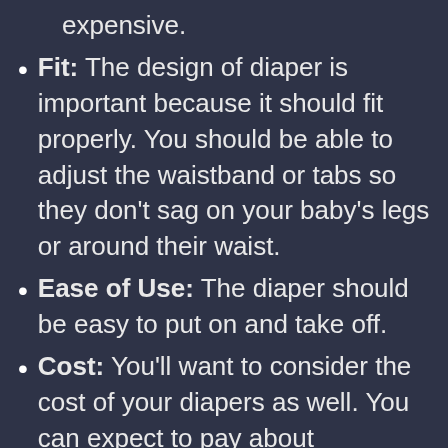expensive.
Fit: The design of diaper is important because it should fit properly. You should be able to adjust the waistband or tabs so they don't sag on your baby's legs or around their waist.
Ease of Use: The diaper should be easy to put on and take off.
Cost: You'll want to consider the cost of your diapers as well. You can expect to pay about $0.10-$0.25 per diaper for cloth ones, while disposables can range from $0.21-$0.50 per diaper depending